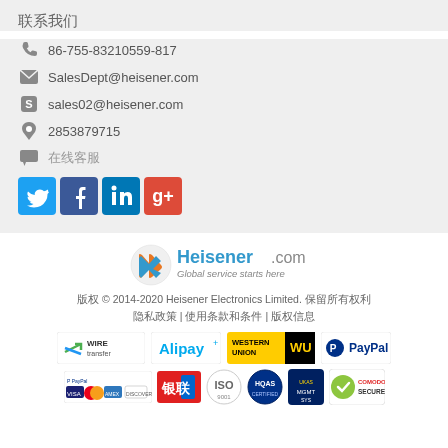联系我们
86-755-83210559-817
SalesDept@heisener.com
sales02@heisener.com
2853879715
在线客服
[Figure (logo): Social media icons: Twitter, Facebook, LinkedIn, Google+]
[Figure (logo): Heisener.com logo with tagline Global service starts here]
版权 © 2014-2020 Heisener Electronics Limited. 保留所有权利
隐私政策 | 使用条款和条件 | 版权信息
[Figure (logo): Payment and certification badges: Wire Transfer, Alipay, Western Union, PayPal, PayPal/VISA/MasterCard/Amex/Discover, UnionPay, ISO, HQAS, UKAS, Comodo Secure]